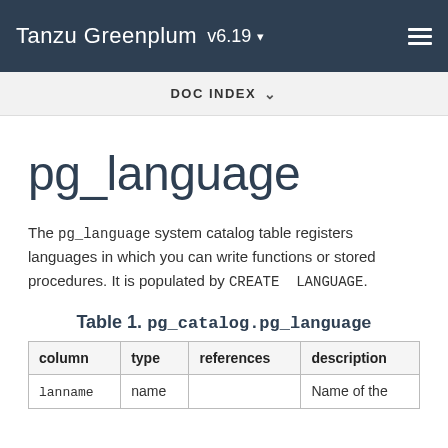Tanzu Greenplum v6.19
DOC INDEX
pg_language
The pg_language system catalog table registers languages in which you can write functions or stored procedures. It is populated by CREATE LANGUAGE.
Table 1. pg_catalog.pg_language
| column | type | references | description |
| --- | --- | --- | --- |
| lanname | name |  | Name of the |